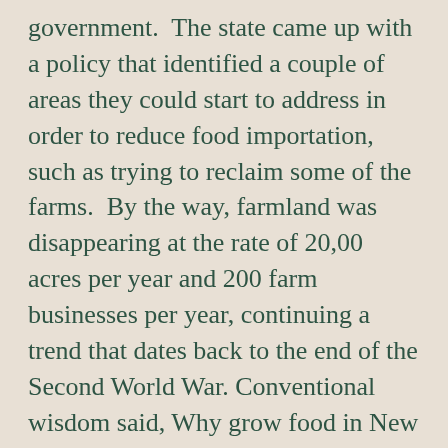government.  The state came up with a policy that identified a couple of areas they could start to address in order to reduce food importation, such as trying to reclaim some of the farms.  By the way, farmland was disappearing at the rate of 20,00 acres per year and 200 farm businesses per year, continuing a trend that dates back to the end of the Second World War.  Conventional wisdom said, Why grow food in New England?  It's rocky, it's hilly, and the growing season is very short.  Everybody knows that.  — I've heard it said that if this country had been settled from the west coast to the east coast, all of New England would probably have become a national park.  If we really stop to think about it, is it likely that there would have been six individual states?  It's a great place to vacation: go to the White Mountains and the Green Mountains and go to the beaches of Cape Cod.  And then go home!